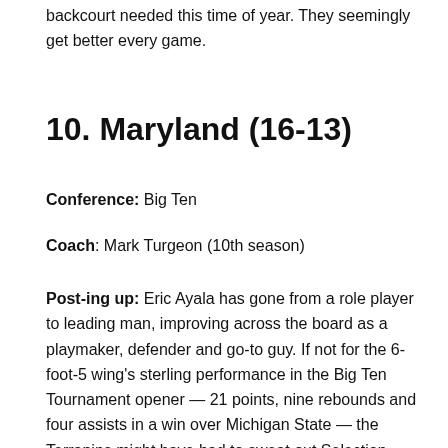backcourt needed this time of year. They seemingly get better every game.
10. Maryland (16-13)
Conference: Big Ten
Coach: Mark Turgeon (10th season)
Post-ing up: Eric Ayala has gone from a role player to leading man, improving across the board as a playmaker, defender and go-to guy. If not for the 6-foot-5 wing's sterling performance in the Big Ten Tournament opener — 21 points, nine rebounds and four assists in a win over Michigan State — the Terrapins might have had to sweat out Selection Sunday.